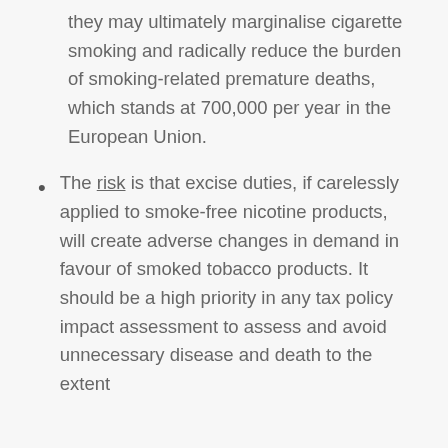they may ultimately marginalise cigarette smoking and radically reduce the burden of smoking-related premature deaths, which stands at 700,000 per year in the European Union.
The risk is that excise duties, if carelessly applied to smoke-free nicotine products, will create adverse changes in demand in favour of smoked tobacco products. It should be a high priority in any tax policy impact assessment to assess and avoid unnecessary disease and death to the extent